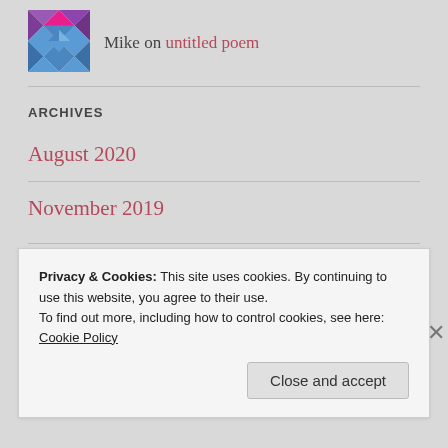[Figure (illustration): Geometric blue and purple avatar/icon for user Mike]
Mike on untitled poem
ARCHIVES
August 2020
November 2019
Privacy & Cookies: This site uses cookies. By continuing to use this website, you agree to their use.
To find out more, including how to control cookies, see here: Cookie Policy
Close and accept